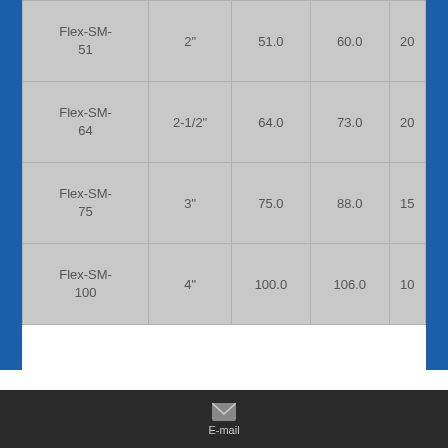| Flex-SM-51 | 2" | 51.0 | 60.0 | 20 |
| Flex-SM-64 | 2-1/2" | 64.0 | 73.0 | 20 |
| Flex-SM-75 | 3" | 75.0 | 88.0 | 15 |
| Flex-SM-100 | 4" | 100.0 | 106.0 | 10 |
Remarks:
MOQ: 100m
E-mail